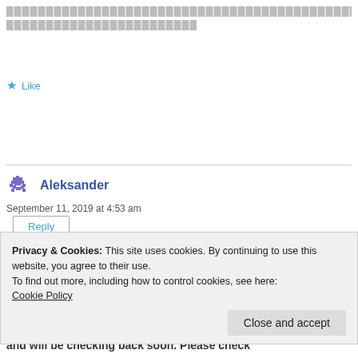[redacted text lines]
Like
Reply
Aleksander
September 11, 2019 at 4:53 am
Privacy & Cookies: This site uses cookies. By continuing to use this website, you agree to their use.
To find out more, including how to control cookies, see here:
Cookie Policy
Close and accept
and will be checking back soon. Please check